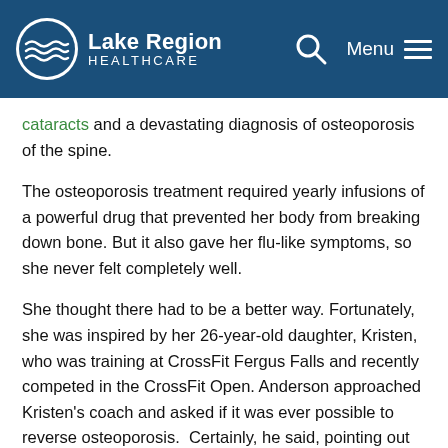Lake Region Healthcare
cataracts and a devastating diagnosis of osteoporosis of the spine.
The osteoporosis treatment required yearly infusions of a powerful drug that prevented her body from breaking down bone. But it also gave her flu-like symptoms, so she never felt completely well.
She thought there had to be a better way. Fortunately, she was inspired by her 26-year-old daughter, Kristen, who was training at CrossFit Fergus Falls and recently competed in the CrossFit Open. Anderson approached Kristen's coach and asked if it was ever possible to reverse osteoporosis.  Certainly, he said, pointing out that the right combination of exercise and strength-training could stop bone loss and even build bones.
Anderson took the plunge, jumping into classes with Kristen. "It